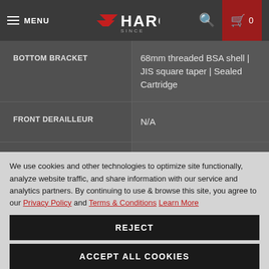MENU | HARO | 0
| Component | Specification |
| --- | --- |
| BOTTOM BRACKET | 68mm threaded BSA shell | JIS square taper | Sealed Cartridge |
| FRONT DERAILLEUR | N/A |
| REAR DERAILLEUR | Shimano Altus RD-M310 | 8-speed |
| DERAILLEUR SHIFTER | Shimano Altus Rapidfire Plus 8-speed | Optical gear display |
We use cookies and other technologies to optimize site functionally, analyze website traffic, and share information with our service and analytics partners. By continuing to use & browse this site, you agree to our Privacy Policy and Terms & Conditions Learn More
REJECT
ACCEPT ALL COOKIES